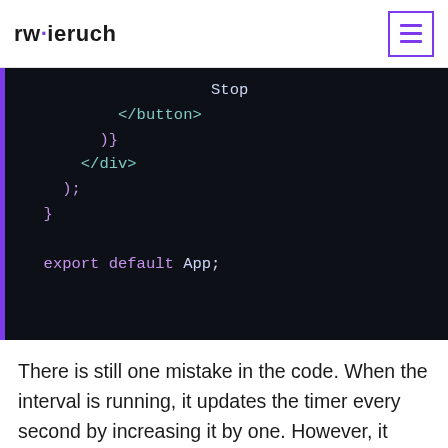rwieruch
[Figure (screenshot): Code editor screenshot showing JSX code snippet with Stop button, closing tags </button>, )}, </div>, ); }, and export default App; on dark background with purple left border]
There is still one mistake in the code. When the interval is running, it updates the timer every second by increasing it by one. However, it always relies on a stale state for the timer. Only when the isOn boolean flag changes the state is fine. In order to receive always the latest state for the timer